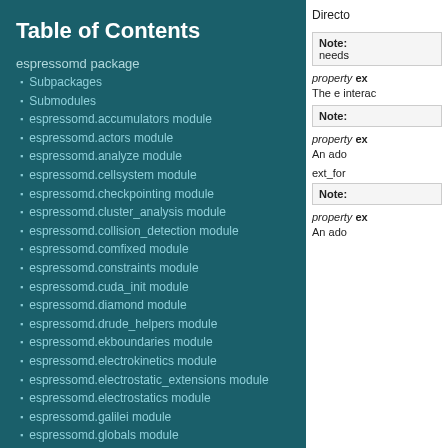Table of Contents
espressomd package
Subpackages
Submodules
espressomd.accumulators module
espressomd.actors module
espressomd.analyze module
espressomd.cellsystem module
espressomd.checkpointing module
espressomd.cluster_analysis module
espressomd.collision_detection module
espressomd.comfixed module
espressomd.constraints module
espressomd.cuda_init module
espressomd.diamond module
espressomd.drude_helpers module
espressomd.ekboundaries module
espressomd.electrokinetics module
espressomd.electrostatic_extensions module
espressomd.electrostatics module
espressomd.galilei module
espressomd.globals module
espressomd.highlander module
espressomd.integrate module
Directo
Note: needs
property ex
The e interac
Note:
property ex
An ado
ext_for
Note:
property ex
An ado